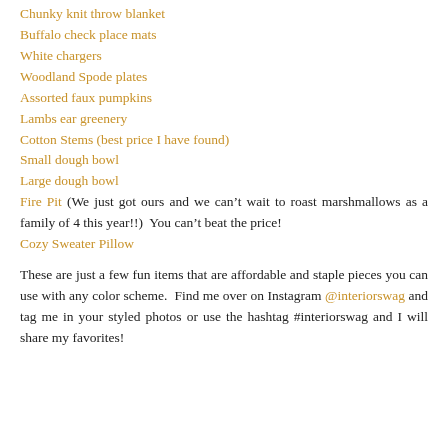Chunky knit throw blanket
Buffalo check place mats
White chargers
Woodland Spode plates
Assorted faux pumpkins
Lambs ear greenery
Cotton Stems (best price I have found)
Small dough bowl
Large dough bowl
Fire Pit (We just got ours and we can't wait to roast marshmallows as a family of 4 this year!!)  You can't beat the price!
Cozy Sweater Pillow
These are just a few fun items that are affordable and staple pieces you can use with any color scheme.  Find me over on Instagram @interiorswag and tag me in your styled photos or use the hashtag #interiorswag and I will share my favorites!